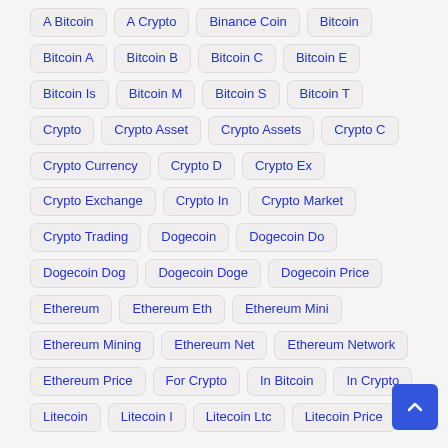A Bitcoin
A Crypto
Binance Coin
Bitcoin
Bitcoin A
Bitcoin B
Bitcoin C
Bitcoin E
Bitcoin Is
Bitcoin M
Bitcoin S
Bitcoin T
Crypto
Crypto Asset
Crypto Assets
Crypto C
Crypto Currency
Crypto D
Crypto Ex
Crypto Exchange
Crypto In
Crypto Market
Crypto Trading
Dogecoin
Dogecoin Do
Dogecoin Dog
Dogecoin Doge
Dogecoin Price
Ethereum
Ethereum Eth
Ethereum Mini
Ethereum Mining
Ethereum Net
Ethereum Network
Ethereum Price
For Crypto
In Bitcoin
In Crypto
Litecoin
Litecoin I
Litecoin Ltc
Litecoin Price